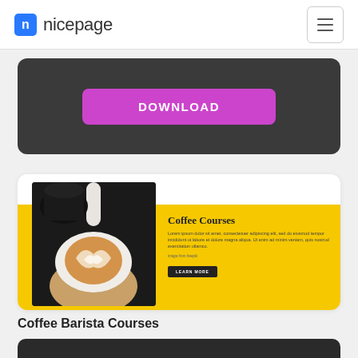nicepage
[Figure (screenshot): Dark gray card with a pink/magenta DOWNLOAD button]
[Figure (screenshot): Coffee Courses card with barista latte art photo on yellow background, title 'Coffee Courses', lorem ipsum text, and LEARN MORE button]
Coffee Barista Courses
[Figure (photo): Dark photo of coffee-related items at bottom of page]